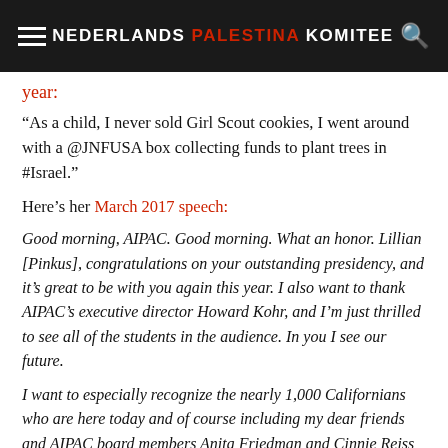NEDERLANDS PALESTINA KOMITEE
year:
“As a child, I never sold Girl Scout cookies, I went around with a @JNFUSA box collecting funds to plant trees in #Israel.”
Here’s her March 2017 speech:
Good morning, AIPAC. Good morning. What an honor. Lillian [Pinkus], congratulations on your outstanding presidency, and it’s great to be with you again this year. I also want to thank AIPAC’s executive director Howard Kohr, and I’m just thrilled to see all of the students in the audience. In you I see our future.
I want to especially recognize the nearly 1,000 Californians who are here today and of course including my dear friends and AIPAC board members Anita Friedman and Cinnie Reiss and